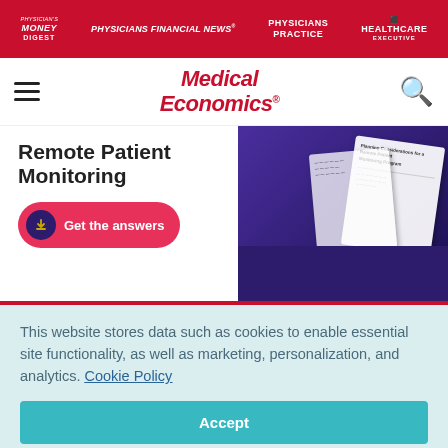Physician's Money Digest | Physicians Financial News | Physicians Practice | Healthcare Executive
[Figure (logo): Medical Economics logo with hamburger menu and search icon]
[Figure (infographic): Remote Patient Monitoring promotional banner with 'Get the answers' button and document imagery on dark purple background]
This website stores data such as cookies to enable essential site functionality, as well as marketing, personalization, and analytics. Cookie Policy
Accept
Deny